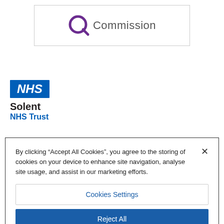[Figure (logo): Care Quality Commission logo in a bordered box — stylized purple Q icon followed by the word 'Commission' in grey text]
[Figure (logo): NHS Solent NHS Trust logo — blue NHS badge with italic bold text, below it 'Solent' in black bold and 'NHS Trust' in blue bold]
By clicking “Accept All Cookies”, you agree to the storing of cookies on your device to enhance site navigation, analyse site usage, and assist in our marketing efforts.
Cookies Settings
Reject All
Accept All Cookies